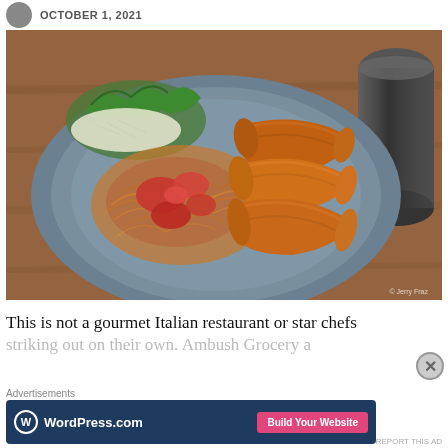OCTOBER 1, 2021
[Figure (photo): A gray plate with spaghetti in tomato sauce topped with chunks of tomato, three grilled sausages, and a side salad of greens and shredded cabbage. A dark beverage in a glass is visible in the upper right corner. Photo credit: © Jerry Fraz]
This is not a gourmet Italian restaurant or star chefs striking out on their own. Ambush Grocery a
Advertisements
[Figure (screenshot): WordPress.com advertisement banner with logo on dark blue background and pink 'Build Your Website' button]